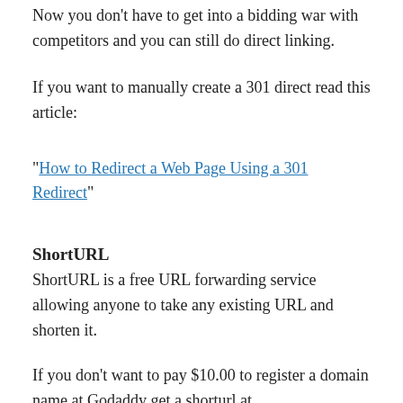Now you don't have to get into a bidding war with competitors and you can still do direct linking.
If you want to manually create a 301 direct read this article:
“How to Redirect a Web Page Using a 301 Redirect”
ShortURL
ShortURL is a free URL forwarding service allowing anyone to take any existing URL and shorten it.
If you don’t want to pay $10.00 to register a domain name at Godaddy get a shorturl at http://www.shorturl.com/. It also enables you to forward and mask your domains.
5. Affiliate Prophet Software
This software allows you to track your keywords to the sale